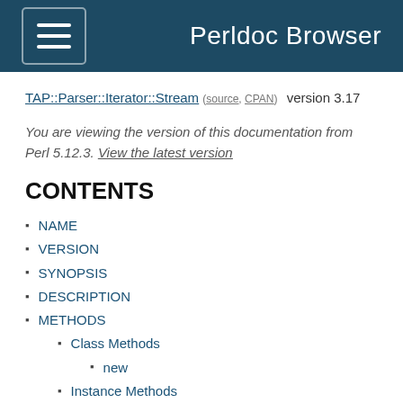Perldoc Browser
TAP::Parser::Iterator::Stream (source, CPAN) version 3.17
You are viewing the version of this documentation from Perl 5.12.3. View the latest version
CONTENTS
NAME
VERSION
SYNOPSIS
DESCRIPTION
METHODS
Class Methods
new
Instance Methods
next
next_raw
wait